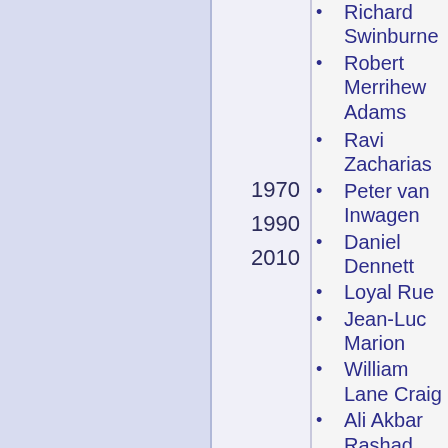Richard Swinburne
Robert Merrihew Adams
Ravi Zacharias
Peter van Inwagen
Daniel Dennett
Loyal Rue
Jean-Luc Marion
William Lane Craig
Ali Akbar Rashad
Alexander Pruss